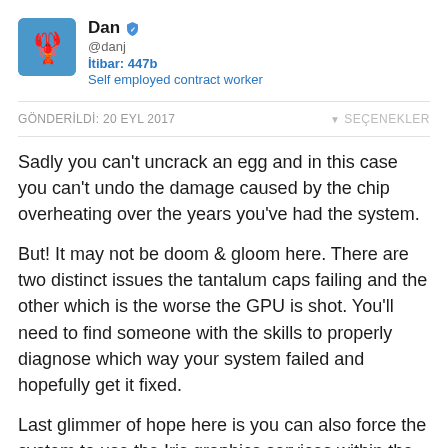Dan @danj Itibar: 447b Self employed contract worker
GÖNDERİLDİ: 20 EYL 2017   SEÇENEKLER
Sadly you can't uncrack an egg and in this case you can't undo the damage caused by the chip overheating over the years you've had the system.
But! It may not be doom & gloom here. There are two distinct issues the tantalum caps failing and the other which is the worse the GPU is shot. You'll need to find someone with the skills to properly diagnose which way your system failed and hopefully get it fixed.
Last glimmer of hope here is you can also force the system to use the Iris graphics services within the Intel CPU. While this will help you limp along for a short time it's